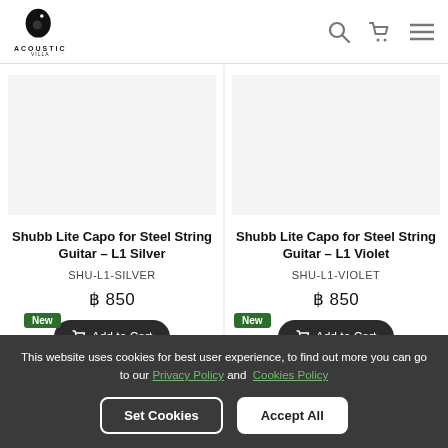Acoustic Villa
Shubb Lite Capo for Steel String Guitar – L1 Silver
SHU-L1-SILVER
฿ 850
Shubb Lite Capo for Steel String Guitar – L1 Violet
SHU-L1-VIOLET
฿ 850
This website uses cookies for best user experience, to find out more you can go to our Privacy Policy and Cookies Policy
Set Cookies   Accept All